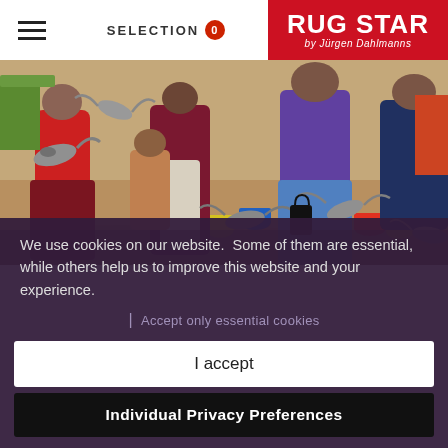SELECTION 0 | RUG STAR by Jürgen Dahlmanns
[Figure (photo): Outdoor market scene with people, pigeons flying around, colorful buckets on the ground, people in various clothing including red, maroon, white, purple, and blue outfits]
We use cookies on our website. Some of them are essential, while others help us to improve this website and your experience.
| Accept only essential cookies
I accept
Individual Privacy Preferences